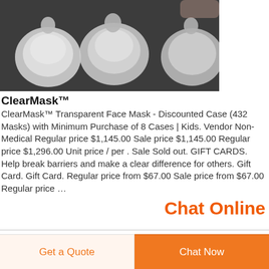[Figure (photo): Product photo showing transparent face masks (ClearMask) arranged on a dark background, cropped at top.]
ClearMask™
ClearMask™ Transparent Face Mask - Discounted Case (432 Masks) with Minimum Purchase of 8 Cases | Kids. Vendor Non-Medical Regular price $1,145.00 Sale price $1,145.00 Regular price $1,296.00 Unit price / per . Sale Sold out. GIFT CARDS. Help break barriers and make a clear difference for others. Gift Card. Gift Card. Regular price from $67.00 Sale price from $67.00 Regular price …
Chat Online
Get a Quote
Chat Now